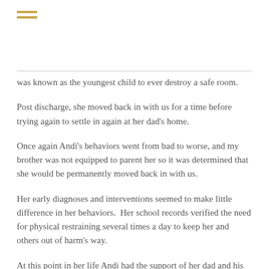≡ (menu icon)
was known as the youngest child to ever destroy a safe room.
Post discharge, she moved back in with us for a time before trying again to settle in again at her dad's home.
Once again Andi's behaviors went from bad to worse, and my brother was not equipped to parent her so it was determined that she would be permanently moved back in with us.
Her early diagnoses and interventions seemed to make little difference in her behaviors.  Her school records verified the need for physical restraining several times a day to keep her and others out of harm's way.
At this point in her life Andi had the support of her dad and his new wife, her Uncle and Aunt, that she knows as mom and dad, her psychiatrist, her psychologist, her therapist, her social worker, her tutor, her teachers, and more members to be determined.